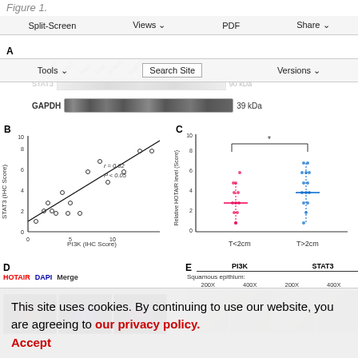Figure 1.
[Figure (screenshot): Website navigation toolbar with Split-Screen, Views, PDF, Share buttons]
[Figure (screenshot): Secondary toolbar with Tools, Search Site, Versions buttons]
[Figure (photo): Western blot panel A showing STAT3 and GAPDH (39 kDa) bands across cell lines: Cal27, TDD-1, Hep2, Tca8, IA-SCC, Tca8113]
[Figure (scatter-plot): Panel B: Scatter plot of PI3K (IHC Score) vs STAT3 (IHC Score), r=0.62, P<0.05, with trend line]
[Figure (scatter-plot): Panel C: Dot plot of Relative HOTAIR level (Score) for T<2cm vs T>2cm groups, with significance bracket (*)]
[Figure (photo): Panel D: Fluorescence microscopy images showing HOTAIR (red), DAPI (blue), and Merge for T<2cm tissue sample]
[Figure (photo): Panel E: Immunohistochemistry images of PI3K and STAT3 in Squamous epithelium at 200X and 400X magnification for T<2cm]
This site uses cookies. By continuing to use our website, you are agreeing to our privacy policy.
Accept